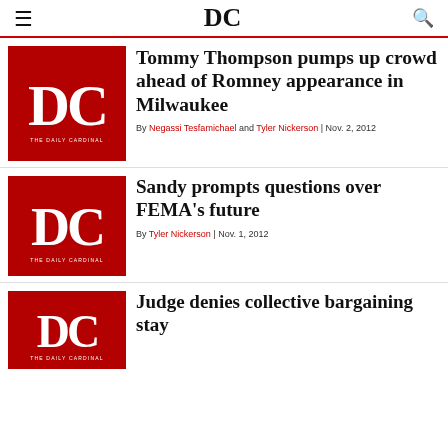DC — The Daily Cardinal
[Figure (logo): The Daily Cardinal red logo thumbnail]
Tommy Thompson pumps up crowd ahead of Romney appearance in Milwaukee
By Negassi Tesfamichael and Tyler Nickerson | Nov. 2, 2012
[Figure (logo): The Daily Cardinal red logo thumbnail]
Sandy prompts questions over FEMA's future
By Tyler Nickerson | Nov. 1, 2012
[Figure (logo): The Daily Cardinal red logo thumbnail]
Judge denies collective bargaining stay